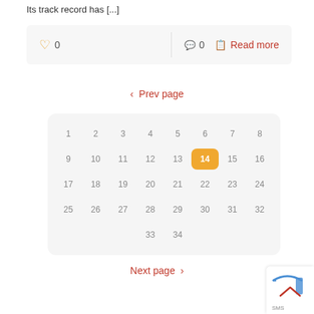Its track record has [...]
[Figure (screenshot): Action bar with heart/like icon showing 0, comment icon showing 0, and Read more link]
‹ Prev page
[Figure (other): Calendar grid showing numbers 1-34 with 14 highlighted in orange]
Next page ›